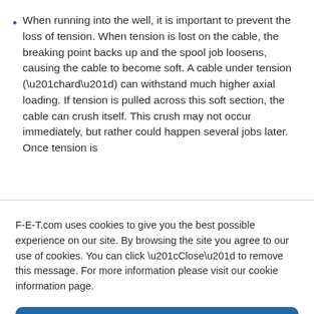When running into the well, it is important to prevent the loss of tension. When tension is lost on the cable, the breaking point backs up and the spool job loosens, causing the cable to become soft. A cable under tension (“hard”) can withstand much higher axial loading. If tension is pulled across this soft section, the cable can crush itself. This crush may not occur immediately, but rather could happen several jobs later. Once tension is
F-E-T.com uses cookies to give you the best possible experience on our site. By browsing the site you agree to our use of cookies. You can click “Close” to remove this message. For more information please visit our cookie information page.
Close
Cookie and Privacy Policy   Cookie and Privacy Policy